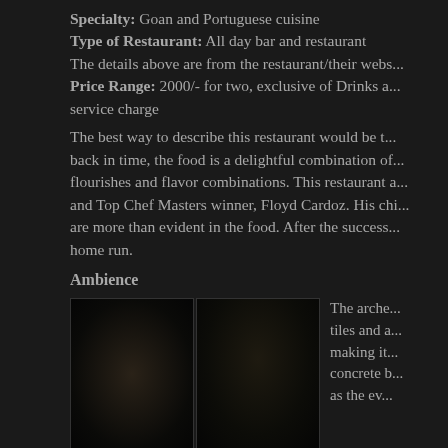Specialty: Goan and Portuguese cuisine
Type of Restaurant: All day bar and restaurant
The details above are from the restaurant/their webs...
Price Range: 2000/- for two, exclusive of Drinks and service charge
The best way to describe this restaurant would be to go back in time, the food is a delightful combination of flourishes and flavor combinations. This restaurant and Top Chef Masters winner, Floyd Cardoz. His chi... are more than evident in the food. After the success... home run.
Ambience
[Figure (photo): Dark interior photo of restaurant entrance/window area]
[Figure (photo): Dark interior photo of restaurant dining area with ambient lighting]
The arche... tiles and a... making it... concrete b... as the ev...